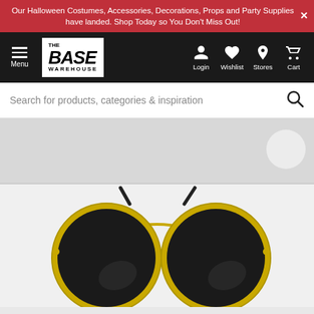Our Halloween Costumes, Accessories, Decorations, Props and Party Supplies have landed. Shop Today so You Don't Miss Out!
[Figure (screenshot): The Base Warehouse navigation bar with menu, logo, login, wishlist, stores and cart icons]
Search for products, categories & inspiration
[Figure (photo): Round gold-framed sunglasses with dark lenses on a light grey background]